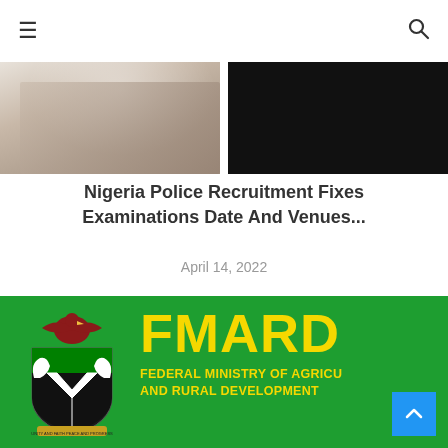≡  🔍
[Figure (photo): Two images side by side: left shows a lighter-toned photo (partially visible), right shows a mostly black/dark image]
Nigeria Police Recruitment Fixes Examinations Date And Venues...
April 14, 2022
[Figure (logo): FMARD - Federal Ministry of Agriculture and Rural Development logo on green background with Nigerian coat of arms]